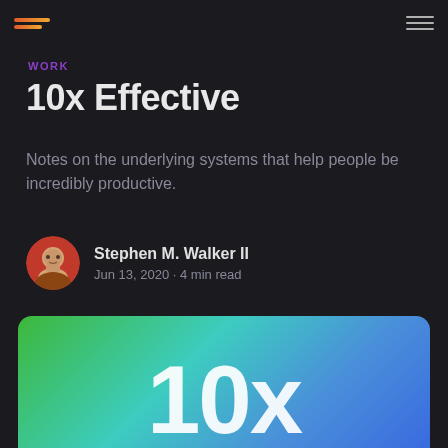Logo / Navigation
WORK
10x Effective
Notes on the underlying systems that help people be incredibly productive.
Stephen M. Walker II
Jun 13, 2020 • 4 min read
[Figure (illustration): Hero image with green-to-blue gradient background and large white '10x' text]